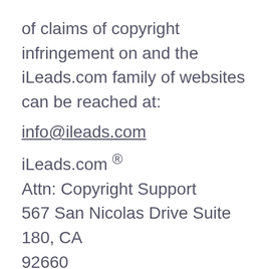of claims of copyright infringement on and the iLeads.com family of websites can be reached at:
info@ileads.com
iLeads.com ® Attn: Copyright Support 567 San Nicolas Drive Suite 180, CA 92660
Intellectual Property
This Site and the Content available on the Site are the property of the...